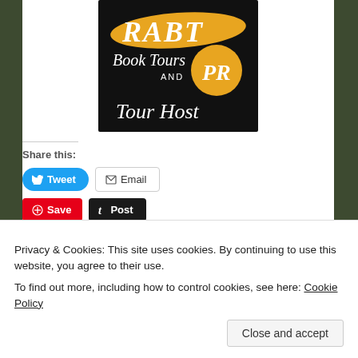[Figure (logo): RABT Book Tours and PR Tour Host logo — black background with gold brush stroke lettering 'RABT', white script 'Book Tours AND', gold circle with white 'PR', and white script 'Tour Host']
Share this:
Tweet | Email | Save | Post | Print | Share
Privacy & Cookies: This site uses cookies. By continuing to use this website, you agree to their use.
To find out more, including how to control cookies, see here: Cookie Policy
Close and accept